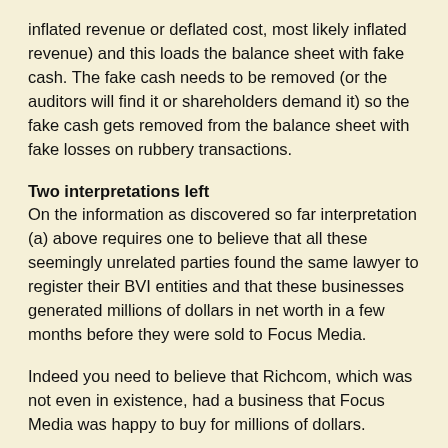inflated revenue or deflated cost, most likely inflated revenue) and this loads the balance sheet with fake cash. The fake cash needs to be removed (or the auditors will find it or shareholders demand it) so the fake cash gets removed from the balance sheet with fake losses on rubbery transactions.
Two interpretations left
On the information as discovered so far interpretation (a) above requires one to believe that all these seemingly unrelated parties found the same lawyer to register their BVI entities and that these businesses generated millions of dollars in net worth in a few months before they were sold to Focus Media.
Indeed you need to believe that Richcom, which was not even in existence, had a business that Focus Media was happy to buy for millions of dollars.
There are scenarios where interpretation (a) remains possible. For instance if all the Chinese entrepreneurs had